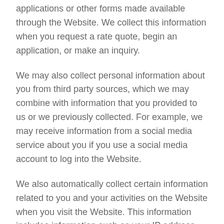applications or other forms made available through the Website. We collect this information when you request a rate quote, begin an application, or make an inquiry.
We may also collect personal information about you from third party sources, which we may combine with information that you provided to us or we previously collected. For example, we may receive information from a social media service about you if you use a social media account to log into the Website.
We also automatically collect certain information related to you and your activities on the Website when you visit the Website. This information includes information such as your IP address, your internet browser and operating system type, the date and time of your visit, and the website that referred you to us.